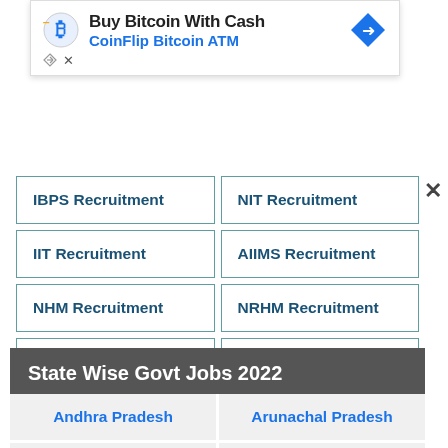[Figure (screenshot): Advertisement banner: Buy Bitcoin With Cash - CoinFlip Bitcoin ATM]
| IBPS Recruitment | NIT Recruitment |
| IIT Recruitment | AIIMS Recruitment |
| NHM Recruitment | NRHM Recruitment |
| Qualification Wise | Designation Wise |
State Wise Govt Jobs 2022
| Andhra Pradesh | Arunachal Pradesh |
| Assam | Bihar |